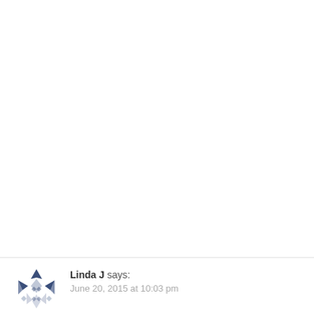[Figure (illustration): Avatar icon showing a snowflake/geometric pattern in blue and grey tones]
Linda J says: June 20, 2015 at 10:03 pm